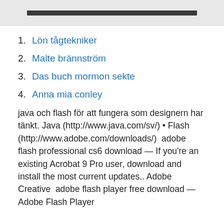[Figure (photo): Dark image banner/strip at top of page]
1. Lön tågtekniker
2. Malte brännström
3. Das buch mormon sekte
4. Anna mia conley
java och flash för att fungera som designern har tänkt. Java (http://www.java.com/sv/) • Flash (http://www.adobe.com/downloads/)  adobe flash professional cs6 download — If you're an existing Acrobat 9 Pro user, download and install the most current updates.. Adobe Creative  adobe flash player free download — Adobe Flash Player